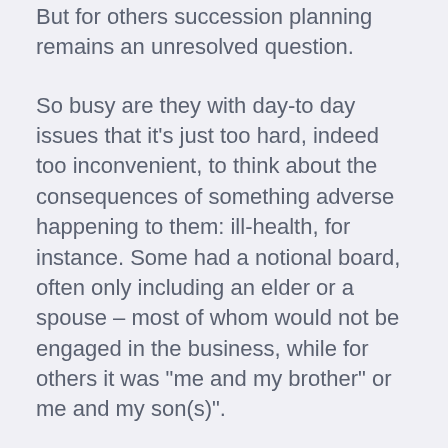But for others succession planning remains an unresolved question.
So busy are they with day-to day issues that it’s just too hard, indeed too inconvenient, to think about the consequences of something adverse happening to them: ill-health, for instance. Some had a notional board, often only including an elder or a spouse – most of whom would not be engaged in the business, while for others it was “me and my brother” or me and my son(s)”.
“Board meetings” might take place around the dining room table at home, or driving together to and from the office, and while a few were considering appointing independent directors none of those I met had done so.
The 2015 Companies Act specifies that four board meetings a year must be held by all registered